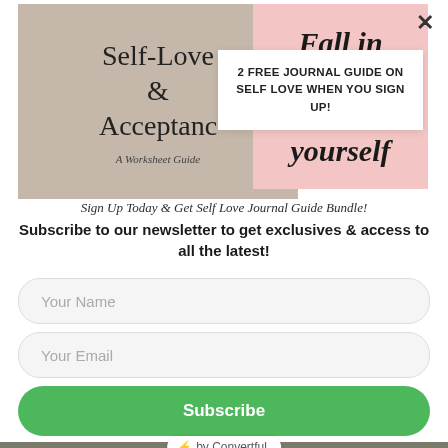[Figure (illustration): Two overlapping book/journal covers: left one is beige/tan with text 'Self-Love & Acceptance' and subtitle 'A Worksheet Guide'; right one is pink with italic text 'Fall in love with yourself'. A white popup box overlay in the center reads '2 FREE JOURNAL GUIDE ON SELF LOVE WHEN YOU SIGN UP!']
Sign Up Today & Get Self Love Journal Guide Bundle!
Subscribe to our newsletter to get exclusives & access to all the latest!
Your Name
Your Email
Subscribe
⚡ by Convertful